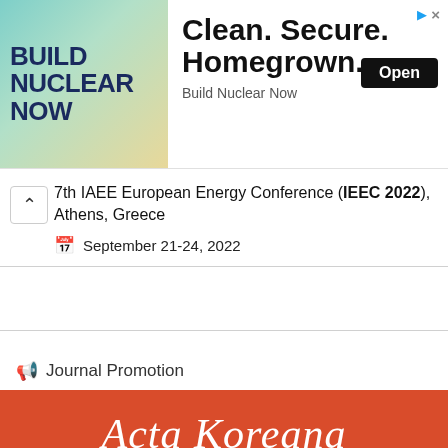[Figure (illustration): Advertisement banner for 'Build Nuclear Now' with teal/green landscape illustration on left and text 'Clean. Secure. Homegrown.' with Open button on right]
7th IAEE European Energy Conference (IEEC 2022), Athens, Greece
September 21-24, 2022
Journal Promotion
[Figure (illustration): Red banner with white italic script text reading 'Acta Koreana']